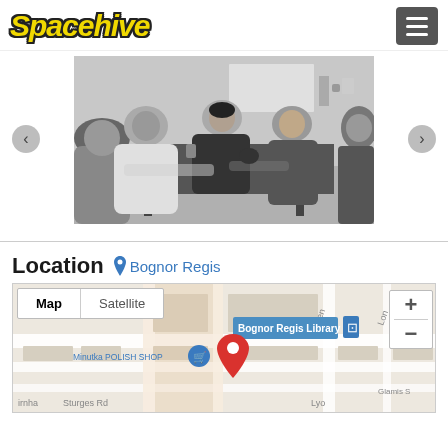[Figure (logo): Spacehive logo in yellow italic bold text with dark outline]
[Figure (photo): Black and white photo of several people sitting around a table, smiling and talking in what appears to be a community space]
Location   Bognor Regis
[Figure (map): Google Maps view showing Bognor Regis area with Map/Satellite tabs, zoom controls, Minutka POLISH SHOP label, Sturges Rd, Bognor Regis Library, Glamis S, Spen, Lon, Lyon labels, and a red location pin marker]